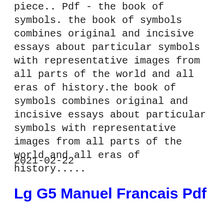piece.. Pdf - the book of symbols. the book of symbols combines original and incisive essays about particular symbols with representative images from all parts of the world and all eras of history.the book of symbols combines original and incisive essays about particular symbols with representative images from all parts of the world and all eras of history.....
2021-02-22
Lg G5 Manuel Francais Pdf